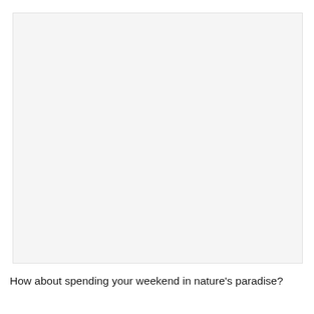[Figure (photo): Large blank/nearly blank image area with a light gray background, representing a photo placeholder or an image that has not loaded.]
How about spending your weekend in nature's paradise?